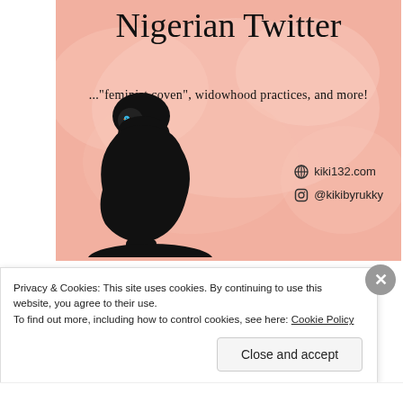[Figure (illustration): Blog post header image with pink watercolor background showing a black silhouette of a woman's head in profile with hair in a bun (containing a Twitter bird logo). Text reads 'Nigerian Twitter' and '..."feminist coven", widowhood practices, and more!' with kiki132.com and @kikibyrukky links.]
After my last blog post, I pretty much hit writer's block. I
Privacy & Cookies: This site uses cookies. By continuing to use this website, you agree to their use.
To find out more, including how to control cookies, see here: Cookie Policy
Close and accept